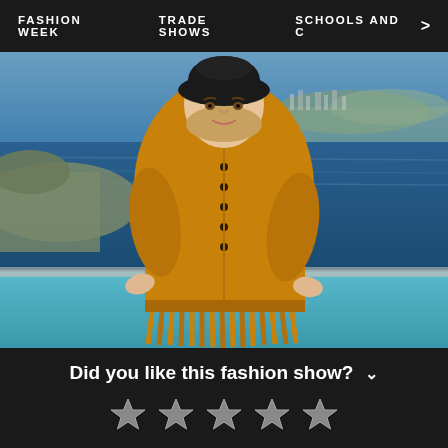FASHION WEEK   TRADE SHOWS   SCHOOLS AND C  >
[Figure (photo): A woman wearing a mustard/amber colored oversized button-up coat with fringe hem detail and a black bucket hat, standing outdoors with a coastal Mediterranean scene in the background featuring blue water and distant city.]
Did you like this fashion show?
[Figure (other): Five star rating icons (empty/outline stars) for user rating input]